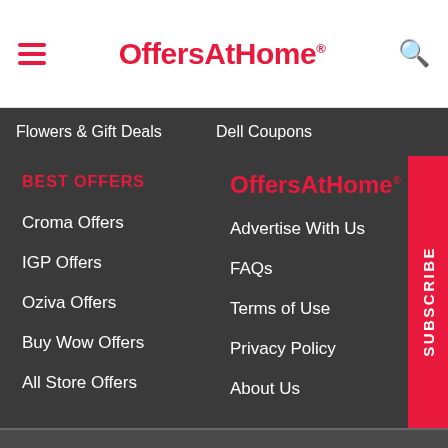OffersAtHome®
Flowers & Gift Deals
Dell Coupons
BEST OFFERS
OffersAtHome®
Croma Offers
Advertise With Us
IGP Offers
FAQs
Oziva Offers
Terms of Use
Buy Wow Offers
Privacy Policy
All Store Offers
About Us
SUBSCRIBE